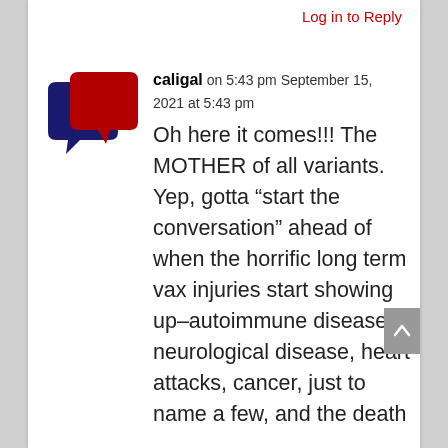Log in to Reply
[Figure (illustration): Two overlapping speech bubble icons, one dark navy blue and one dark red/crimson, forming a comment/chat logo]
caligal on 5:43 pm September 15, 2021 at 5:43 pm
Oh here it comes!!! The MOTHER of all variants. Yep, gotta “start the conversation” ahead of when the horrific long term vax injuries start showing up–autoimmune disease, neurological disease, heart attacks, cancer, just to name a few, and the death